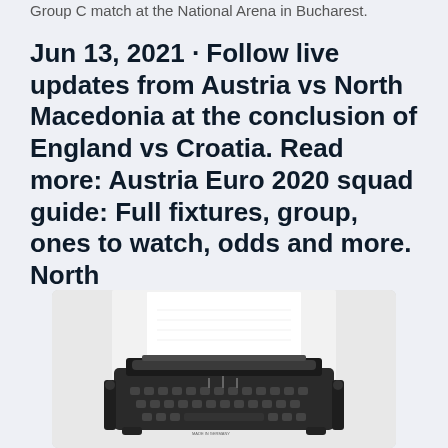Group C match at the National Arena in Bucharest.
Jun 13, 2021 · Follow live updates from Austria vs North Macedonia at the conclusion of England vs Croatia. Read more: Austria Euro 2020 squad guide: Full fixtures, group, ones to watch, odds and more. North
[Figure (photo): A vintage typewriter photographed against a light background, with a sheet of white paper loaded into it. The typewriter is black/dark metallic with visible mechanical keys and roller mechanism.]